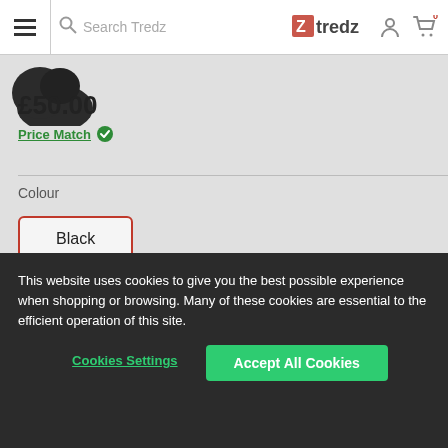Tredz - Search Tredz [navigation bar with logo, search, user icon, cart with 0 items]
[Figure (photo): Partial view of a black cycling product (helmet or similar) shown at top left]
£50.00
Price Match ✓
Colour
Black
Available with supplier ⓘ
Dispatched in 3-5 working days    £50.00
This website uses cookies to give you the best possible experience when shopping or browsing. Many of these cookies are essential to the efficient operation of this site.
Cookies Settings    Accept All Cookies